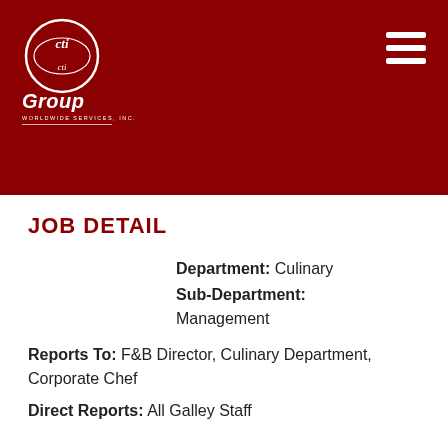[Figure (logo): CTI Group Worldwide Services Inc. logo — white circular emblem with stylized 'cti' text on dark red background, with 'Group' in italic white below and 'WORLDWIDE SERVICES, INC.' in small caps]
JOB DETAIL
Department: Culinary
Sub-Department: Management
Reports To: F&B Director, Culinary Department, Corporate Chef
Direct Reports: All Galley Staff